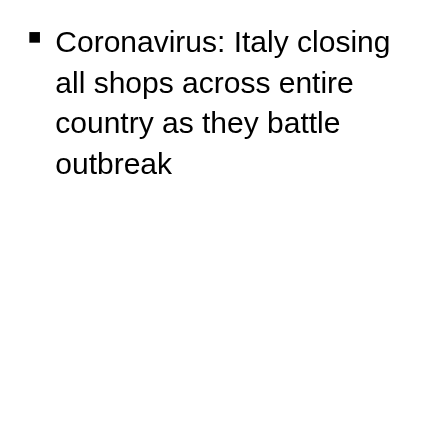Coronavirus: Italy closing all shops across entire country as they battle outbreak
Card game from 90s eerily predicted